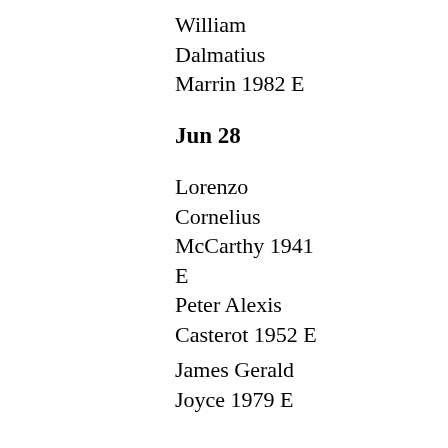William Dalmatius Marrin 1982 E
Jun 28
Lorenzo Cornelius McCarthy 1941 E
Peter Alexis Casterot 1952 E
James Gerald Joyce 1979 E
Jun 29
Reginald Thomas Hickey 1888 W
Arthur Hyacinth Chandler 1945 E